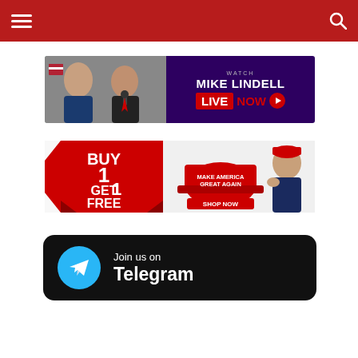Navigation header with hamburger menu and search icon
[Figure (screenshot): Watch Mike Lindell Live Now banner with photos of Trump and Lindell on left, purple background with text on right]
[Figure (infographic): Buy 1 Get 1 Free red ribbon banner alongside Make America Great Again cap Shop Now ad with Trump giving thumbs up]
[Figure (infographic): Join us on Telegram button with Telegram logo on black rounded rectangle background]